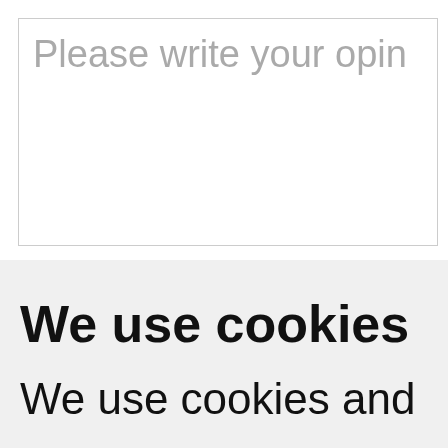Please write your opin
We use cookies
We use cookies and